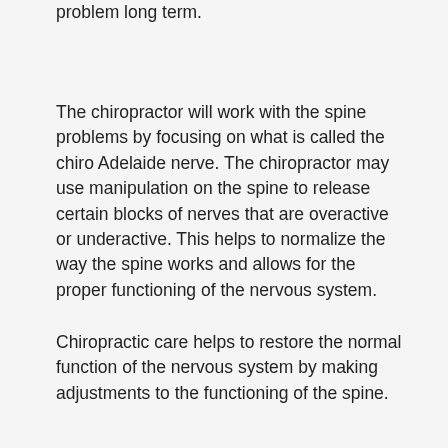problem long term.
The chiropractor will work with the spine problems by focusing on what is called the chiro Adelaide nerve. The chiropractor may use manipulation on the spine to release certain blocks of nerves that are overactive or underactive. This helps to normalize the way the spine works and allows for the proper functioning of the nervous system.
Chiropractic care helps to restore the normal function of the nervous system by making adjustments to the functioning of the spine.